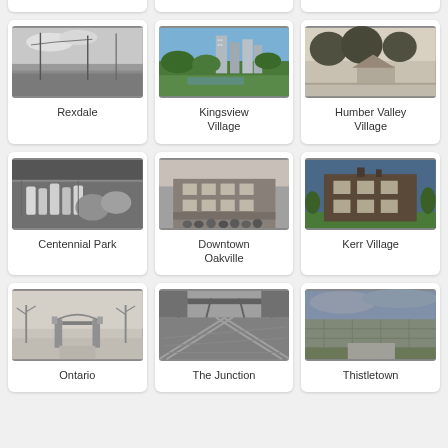[Figure (photo): Rexdale – black and white street scene with utility poles]
Rexdale
[Figure (photo): Kingsview Village – color photo of park with high-rise apartment buildings in background]
Kingsview Village
[Figure (photo): Humber Valley Village – black and white photo of tree-lined street with house]
Humber Valley Village
[Figure (photo): Centennial Park – black and white photo of bottles on machinery]
Centennial Park
[Figure (photo): Downtown Oakville – black and white historic photo of brick building with group of people]
Downtown Oakville
[Figure (photo): Kerr Village – color photo of two-story brick building with trees]
Kerr Village
[Figure (photo): Ontario – black and white photo of gate entrance with bare trees]
Ontario
[Figure (photo): The Junction – black and white photo of railway junction and industrial structures]
The Junction
[Figure (photo): Thistletown – color photo of stone building with cloudy sky]
Thistletown